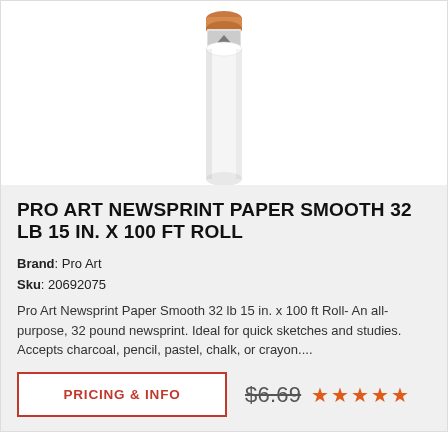[Figure (photo): Product image of Pro Art Newsprint Paper roll - a white cylindrical paper roll with orange/brown end cap and label at top]
PRO ART NEWSPRINT PAPER SMOOTH 32 LB 15 IN. X 100 FT ROLL
Brand: Pro Art
Sku: 20692075
Pro Art Newsprint Paper Smooth 32 lb 15 in. x 100 ft Roll- An all-purpose, 32 pound newsprint. Ideal for quick sketches and studies. Accepts charcoal, pencil, pastel, chalk, or crayon....
PRICING & INFO
$6.69
★★★★★